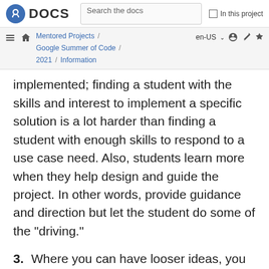Fedora DOCS | Search the docs | In this project
Mentored Projects / Google Summer of Code / 2021 / Information
implemented; finding a student with the skills and interest to implement a specific solution is a lot harder than finding a student with enough skills to respond to a use case need. Also, students learn more when they help design and guide the project. In other words, provide guidance and direction but let the student do some of the "driving."
3. Where you can have looser ideas, you may be able to find a student who works as a sort-of intern who can implement a solution to a use case you have. In past experiences, students